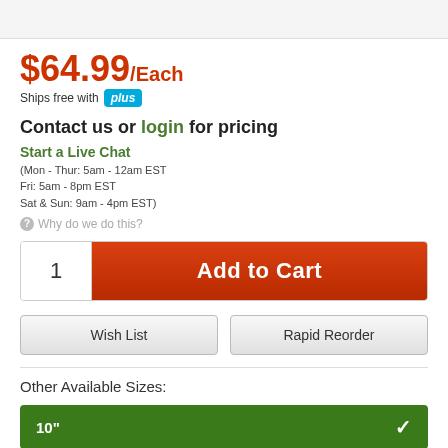$64.99/Each
Ships free with plus
Contact us or login for pricing
Start a Live Chat
(Mon - Thur: 5am - 12am EST
Fri: 5am - 8pm EST
Sat & Sun: 9am - 4pm EST)
Why do we do this?
1
Add to Cart
Wish List
Rapid Reorder
Other Available Sizes:
10"